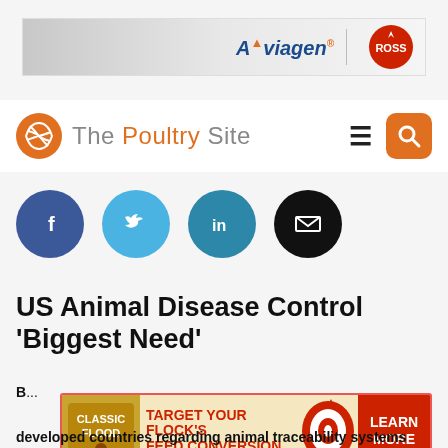[Figure (other): Aviagen Ross advertisement banner — light grey gradient background with Aviagen brand name and Ross logo on right]
[Figure (logo): The Poultry Site logo — orange globe icon with white swirl, with site name 'The Poultry Site' in grey and orange, hamburger menu and orange search button on right]
[Figure (other): Social sharing buttons row — Facebook (dark blue), Twitter (light blue), LinkedIn (teal), Email (black) circular icons]
US Animal Disease Control 'Biggest Need'
B... developed countries regarding animal traceability systems
[Figure (other): Classic Flood advertisement — TARGET YOUR FLOCK'S FEED CONVERSION with red swirl graphic and LEARN MORE button]